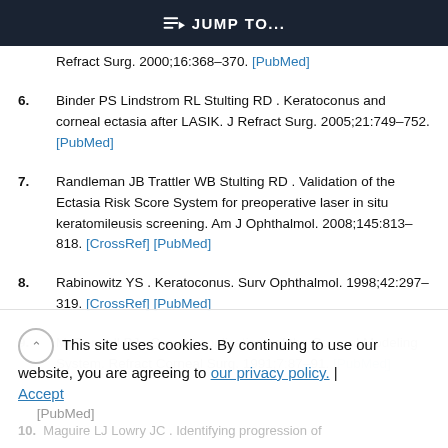JUMP TO...
Refract Surg. 2000;16:368–370. [PubMed]
6. Binder PS Lindstrom RL Stulting RD . Keratoconus and corneal ectasia after LASIK. J Refract Surg. 2005;21:749–752. [PubMed]
7. Randleman JB Trattler WB Stulting RD . Validation of the Ectasia Risk Score System for preoperative laser in situ keratomileusis screening. Am J Ophthalmol. 2008;145:813–818. [CrossRef] [PubMed]
8. Rabinowitz YS . Keratoconus. Surv Ophthalmol. 1998;42:297–319. [CrossRef] [PubMed]
9. McDonnell PJ . Current applications of the Corneal Modeling System. Refract Corneal Surg. 1991;7:87–91. [PubMed]
This site uses cookies. By continuing to use our website, you are agreeing to our privacy policy. | Accept
10. Maguire LJ Lowry JC . Identifying progression of...